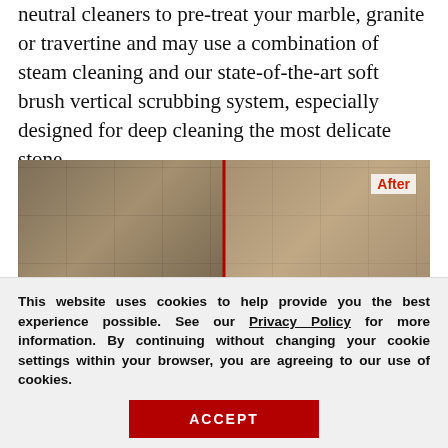neutral cleaners to pre-treat your marble, granite or travertine and may use a combination of steam cleaning and our state-of-the-art soft brush vertical scrubbing system, especially designed for deep cleaning the most delicate stone.
[Figure (photo): Before/after comparison photo of a marble or travertine shower, split down the middle with a red vertical divider line. The right side is labeled 'After' in red text. Both sides show beige/tan stone tile walls and floor of a shower stall with gold-tone fixtures.]
This website uses cookies to help provide you the best experience possible. See our Privacy Policy for more information. By continuing without changing your cookie settings within your browser, you are agreeing to our use of cookies.